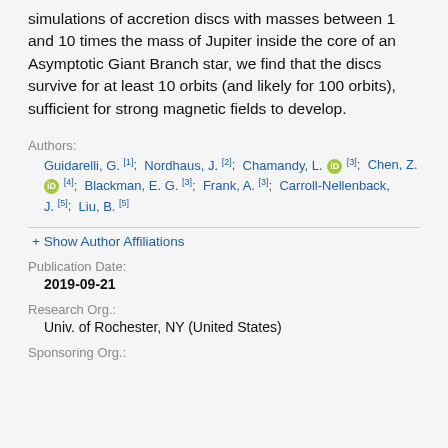simulations of accretion discs with masses between 1 and 10 times the mass of Jupiter inside the core of an Asymptotic Giant Branch star, we find that the discs survive for at least 10 orbits (and likely for 100 orbits), sufficient for strong magnetic fields to develop.
Authors:
Guidarelli, G. [1]; Nordhaus, J. [2]; Chamandy, L. [ORCID] [3]; Chen, Z. [ORCID] [4]; Blackman, E. G. [3]; Frank, A. [3]; Carroll-Nellenback, J. [5]; Liu, B. [5]
+ Show Author Affiliations
Publication Date:
2019-09-21
Research Org.:
Univ. of Rochester, NY (United States)
Sponsoring Org.: